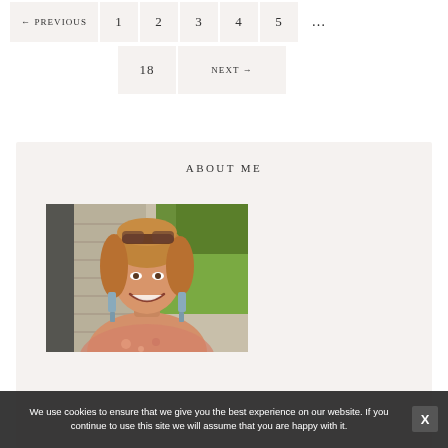← PREVIOUS  1  2  3  4  5  ...  18  NEXT →
ABOUT ME
[Figure (photo): Portrait photo of a smiling middle-aged woman with shoulder-length blonde hair, wearing sunglasses on her head, blue dangle earrings, and a floral top. Background shows a house siding and green foliage.]
We use cookies to ensure that we give you the best experience on our website. If you continue to use this site we will assume that you are happy with it.